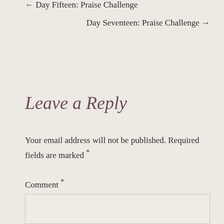← Day Fifteen: Praise Challenge
Day Seventeen: Praise Challenge →
Leave a Reply
Your email address will not be published. Required fields are marked *
Comment *